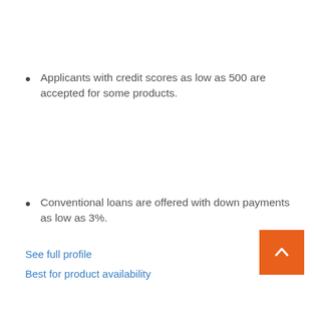Applicants with credit scores as low as 500 are accepted for some products.
Conventional loans are offered with down payments as low as 3%.
See full profile
Best for product availability